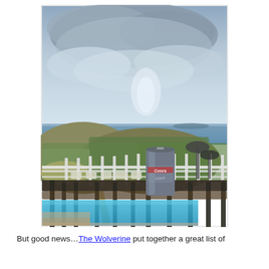[Figure (photo): Outdoor beach/resort scene viewed from a balcony. A Coors Light beer can sits on a dark railing in the foreground, with a pool visible below. Behind the railing is a white fence, beach chairs, sand dunes with green grass, and the ocean horizon under a cloudy sky.]
But good news…The Wolverine put together a great list of